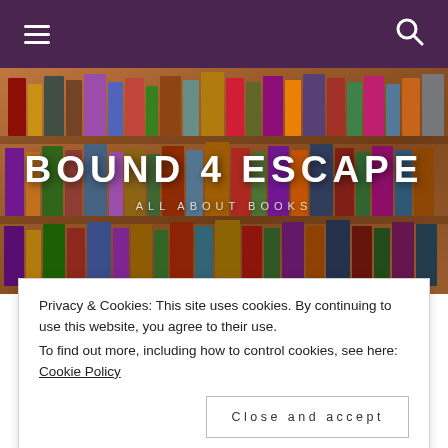≡  🔍
[Figure (photo): Bookshelf hero banner image with text 'BOUND 4 ESCAPE' and subtitle 'ALL ABOUT BOOKS']
BOUND 4 ESCAPE
ALL ABOUT BOOKS
Book Review: Baby Karimo
Privacy & Cookies: This site uses cookies. By continuing to use this website, you agree to their use.
To find out more, including how to control cookies, see here: Cookie Policy
Close and accept